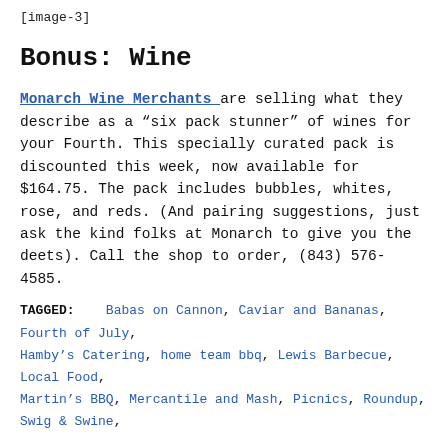[Figure (other): [image-3] placeholder text]
Bonus: Wine
Monarch Wine Merchants are selling what they describe as a “six pack stunner” of wines for your Fourth. This specially curated pack is discounted this week, now available for $164.75. The pack includes bubbles, whites, rose, and reds. (And pairing suggestions, just ask the kind folks at Monarch to give you the deets). Call the shop to order, (843) 576-4585.
TAGGED: Babas on Cannon, Caviar and Bananas, Fourth of July, Hamby’s Catering, home team bbq, Lewis Barbecue, Local Food, Martin’s BBQ, Mercantile and Mash, Picnics, Roundup, Swig & Swine,